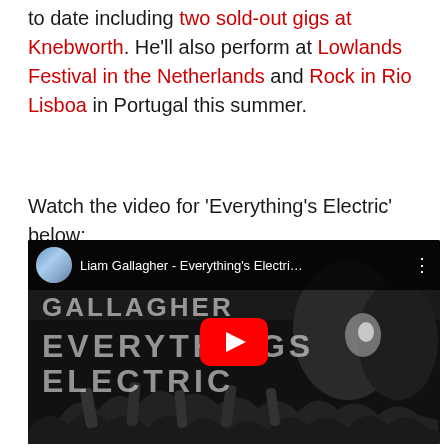to date including two sold-out gigs at Knebworth. He'll also perform at Lowlands Festival in the Netherlands and Rock in Rio Lisboa in Portugal this summer.
Watch the video for 'Everything's Electric' below:
[Figure (screenshot): Embedded YouTube video player showing Liam Gallagher - Everything's Electri... with a black and white thumbnail of a concert crowd scene, featuring the YouTube play button overlay and text overlays reading GALLAGHER and EVERYTHINGS ELECTRIC]